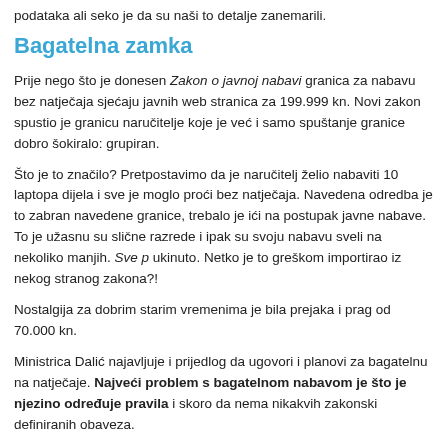podataka ali seko je da su naši to detalje zanemarili.
Bagatelna zamka
Prije nego što je donesen Zakon o javnoj nabavi granica za nabavu bez natječaja sjećaju javnih web stranica za 199.999 kn. Novi zakon spustio je granicu naručitelje koje je već i samo spuštanje granice dobro šokiralo: grupiran.
Što je to značilo? Pretpostavimo da je naručitelj želio nabaviti 10 laptopa dijela i sve je moglo proći bez natječaja. Navedena odredba je to zabran navedene granice, trebalo je ići na postupak javne nabave. To je užasnu su slične razrede i ipak su svoju nabavu sveli na nekoliko manjih. Sve p ukinuto. Netko je to greškom importirao iz nekog stranog zakona?!
Nostalgija za dobrim starim vremenima je bila prejaka i prag od 70.000 kn.
Ministrica Dalić najavljuje i prijedlog da ugovori i planovi za bagatelnu na natječaje. Najveći problem s bagatelnom nabavom je što je njezino određuje pravila i skoro da nema nikakvih zakonski definiranih obaveza.
Neki naručitelji, kao što su HRT ili Grad Zagreb objavljuju natječaje za b zainteresiranim gospodarskim subjektima. Drugi to uopće ne rade, a nek prikupiti usmenim dogovorom.